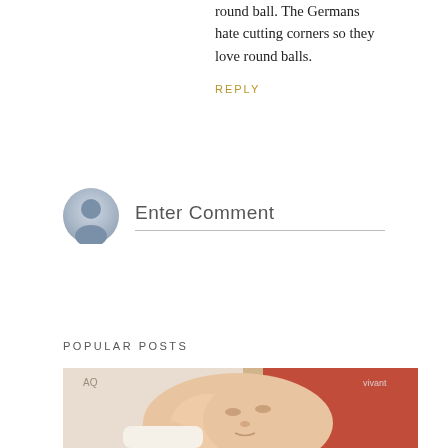round ball. The Germans hate cutting corners so they love round balls.
REPLY
Enter Comment
POPULAR POSTS
[Figure (photo): Close-up photo of a sleeping newborn baby with chubby cheeks, wearing white clothing with yellow trim, lying on red and white fabric with text/labels partially visible in background.]